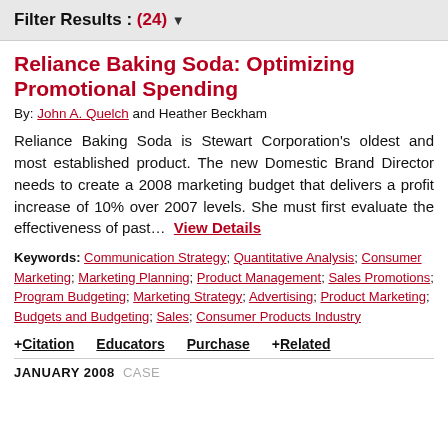Filter Results : (24) ▼
Reliance Baking Soda: Optimizing Promotional Spending
By: John A. Quelch and Heather Beckham
Reliance Baking Soda is Stewart Corporation's oldest and most established product. The new Domestic Brand Director needs to create a 2008 marketing budget that delivers a profit increase of 10% over 2007 levels. She must first evaluate the effectiveness of past...  View Details
Keywords: Communication Strategy; Quantitative Analysis; Consumer Marketing; Marketing Planning; Product Management; Sales Promotions; Program Budgeting; Marketing Strategy; Advertising; Product Marketing; Budgets and Budgeting; Sales; Consumer Products Industry
+ Citation   Educators   Purchase   + Related
JANUARY 2008  CASE